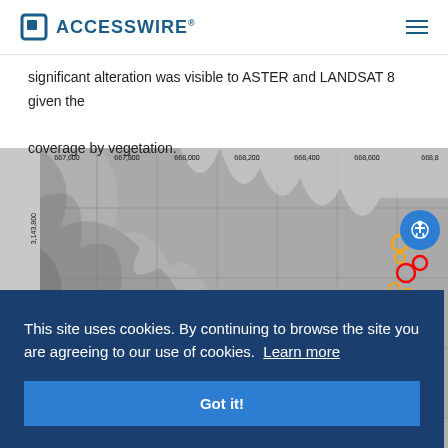ACCESSWIRE
significant alteration was visible to ASTER and LANDSAT 8 given the coverage by vegetation.
[Figure (map): Grayscale satellite/terrain map with coordinate grid. X-axis labels: 667,600 667,800 668,000 668,200 668,400 668,600 668,8... Y-axis label: 3,143,800 and partial label ending in 600. Map shows topographic terrain in black and white with colored circular markers (orange, red, yellow, green) overlaid on the right side.]
This site uses cookies. By continuing to browse the site you are agreeing to our use of cookies.  Learn more
Got it!